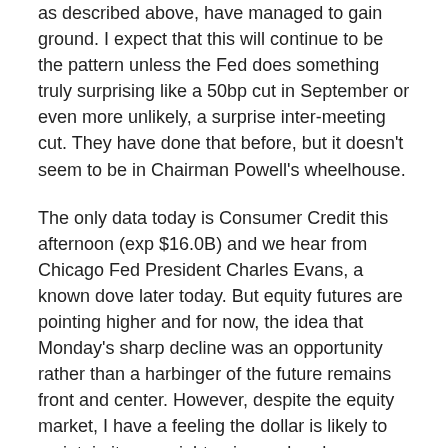as described above, have managed to gain ground. I expect that this will continue to be the pattern unless the Fed does something truly surprising like a 50bp cut in September or even more unlikely, a surprise inter-meeting cut. They have done that before, but it doesn't seem to be in Chairman Powell's wheelhouse.
The only data today is Consumer Credit this afternoon (exp $16.0B) and we hear from Chicago Fed President Charles Evans, a known dove later today. But equity futures are pointing higher and for now, the idea that Monday's sharp decline was an opportunity rather than a harbinger of the future remains front and center. However, despite the equity market, I have a feeling the dollar is likely to maintain its overnight gains and perhaps extend them as well.
Good luck